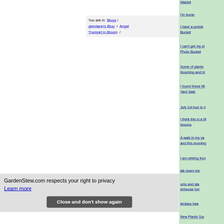You are in  Blogs / glendann's Blog / Angel Trumpet in Bloom /
Wabbit
I'm home
I have a problem Bucket
I can't get my pi Photo Bucket
Some of plants blooming and bl
I found these litt Yard Sale
July 1st tour in n
I think this is a M blooms
A walk in my ya and this morning
I am retiring fron
alk down me
oms and pla enhouse ton
terdays bea
New Plants Sur
GardenStew.com respects your right to privacy
Learn more
Close and don't show again